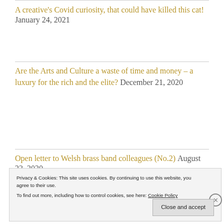A creative's Covid curiosity, that could have killed this cat! January 24, 2021
Are the Arts and Culture a waste of time and money – a luxury for the rich and the elite? December 21, 2020
Open letter to Welsh brass band colleagues (No.2) August 23, 2020
Privacy & Cookies: This site uses cookies. By continuing to use this website, you agree to their use.
To find out more, including how to control cookies, see here: Cookie Policy
Close and accept